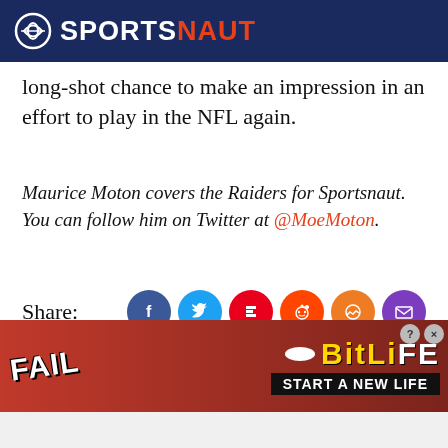SPORTSNAUT
long-shot chance to make an impression in an effort to play in the NFL again.
Maurice Moton covers the Raiders for Sportsnaut. You can follow him on Twitter at @MoeMoton.
Share:
[Figure (other): Sportsnaut social share card with avatar, Posted Aug 18]
[Figure (other): BitLife advertisement banner with FAIL text and START A NEW LIFE tagline]